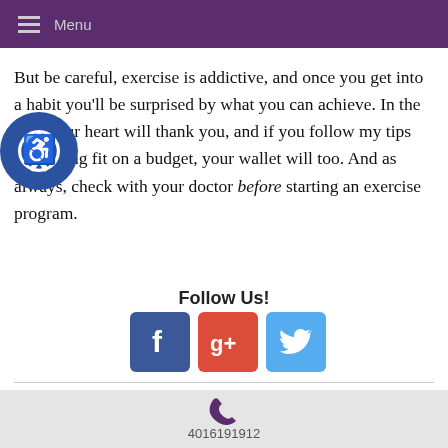Menu
But be careful, exercise is addictive, and once you get into a habit you'll be surprised by what you can achieve. In the end, your heart will thank you, and if you follow my tips for getting fit on a budget, your wallet will too. And as always, check with your doctor before starting an exercise program.
Follow Us!
[Figure (logo): Social media icons: Facebook, Google+, Twitter]
Click here or call to request an appointment
4016191912